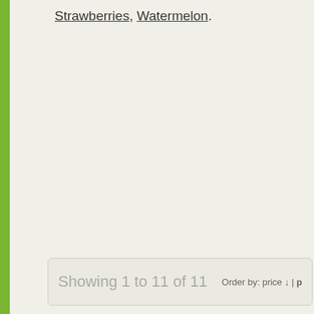Strawberries, Watermelon.
Showing 1 to 11 of 11   Order by: price &darr; | p
[Figure (photo): Photo of strawberries on plant with red ripe fruit and green leaves]
Strawberry F1 Sarian Seeds
A fantastic strawberry that, with repeat produce a good crop of sweet, succule
Add to wishlist | More info
[Figure (photo): Photo of a yellow/golden melon (Galia type) on the vine with green leaves]
Melon Bardot Seeds (Gro S
An early maturing Galia type suitable f greenhouse growing. Round fruits hav